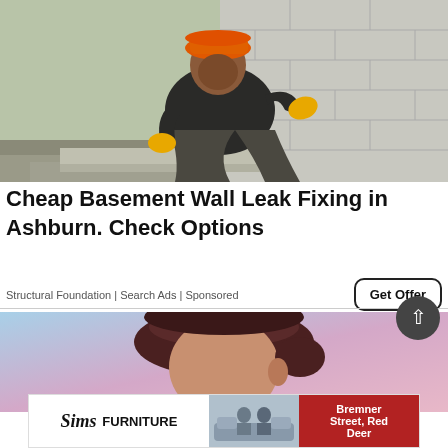[Figure (photo): A construction worker wearing an orange hard hat and yellow gloves, kneeling and applying sealant or mortar to the base of a concrete block wall outdoors.]
Cheap Basement Wall Leak Fixing in Ashburn. Check Options
Structural Foundation | Search Ads | Sponsored
Get Offer
[Figure (photo): Close-up of a person's head with hair pulled back, profile view, against a pink and blue gradient background.]
[Figure (advertisement): Sims Furniture advertisement banner showing the Sims Furniture logo on the left, furniture/people image in center, and red panel on right reading: Bremner Street, Red Deer]